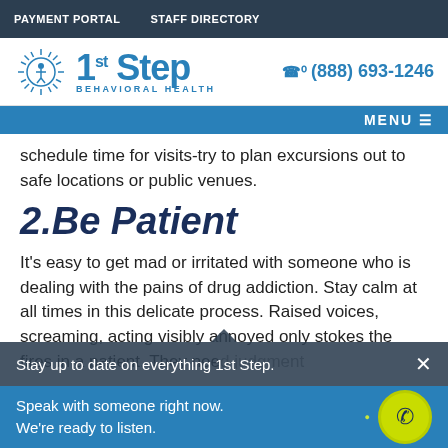PAYMENT PORTAL   STAFF DIRECTORY
[Figure (logo): 1st Step Behavioral Health logo with sunburst icon and phone number (888) 693-1246]
MENU
schedule time for visits-try to plan excursions out to safe locations or public venues.
2.Be Patient
It's easy to get mad or irritated with someone who is dealing with the pains of drug addiction. Stay calm at all times in this delicate process. Raised voices, screaming, acting visibly annoyed only stokes the fires in a patient. They need judgment
Stay up to date on everything 1st Step.
Speak with someone right now. We're ready to listen.